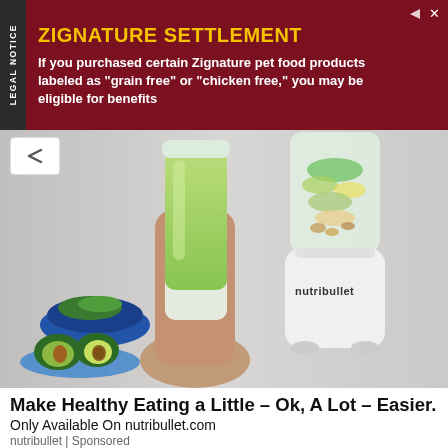[Figure (screenshot): Zignature Settlement legal notice advertisement banner with dark red background, yellow title 'ZIGNATURE SETTLEMENT', white body text about purchasing Zignature pet food products, and 'LEGAL NOTICE' text on side tab.]
[Figure (photo): Nutribullet blender advertisement image showing a hand holding a green smoothie cup on the left, and a white nutribullet blender filled with vegetables and nuts on the right, on a light gray background. Chevron/up arrow button in top-left corner.]
Make Healthy Eating a Little – Ok, A Lot – Easier.
Only Available On nutribullet.com
nutribullet | Sponsored
[Figure (photo): Dark/black background image partially visible at bottom of page, appears to show outdoor gear or bag.]